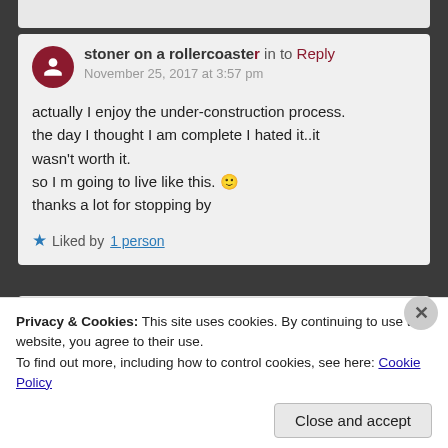stoner on a rollercoaster in to Reply
November 25, 2017 at 3:57 pm

actually I enjoy the under-construction process.
the day I thought I am complete I hated it..it wasn't worth it.
so I m going to live like this. 🙂
thanks a lot for stopping by

★ Liked by 1 person
Privacy & Cookies: This site uses cookies. By continuing to use this website, you agree to their use.
To find out more, including how to control cookies, see here: Cookie Policy
Close and accept